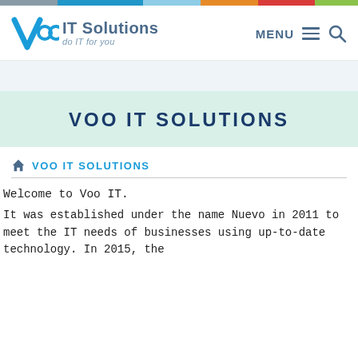[Figure (logo): Voo IT Solutions logo — stylized 'Voo' in cyan/blue with 'IT Solutions' and tagline 'do IT for you']
MENU
VOO IT SOLUTIONS
🏠 VOO IT SOLUTIONS
Welcome to Voo IT.
It was established under the name Nuevo in 2011 to meet the IT needs of businesses using up-to-date technology. In 2015, the